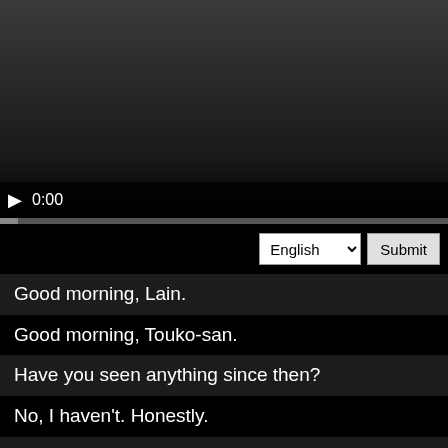[Figure (screenshot): Video player showing a dark/black video frame with playback controls including a play button and timestamp showing 0:00, and a progress bar beneath.]
English  Submit
Good morning, Lain.
Good morning, Touko-san.
Have you seen anything since then?
No, I haven't. Honestly.
Have you heard anything?
Sometimes I hear gibberish.